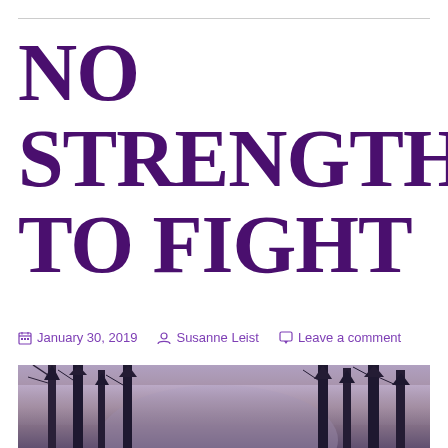NO STRENGTH TO FIGHT
January 30, 2019  Susanne Leist  Leave a comment
[Figure (photo): Dark moody photograph of tall bare trees and pine trees in a foggy forest with a misty mountain or sky visible through the trees, in dark purple-grey tones]